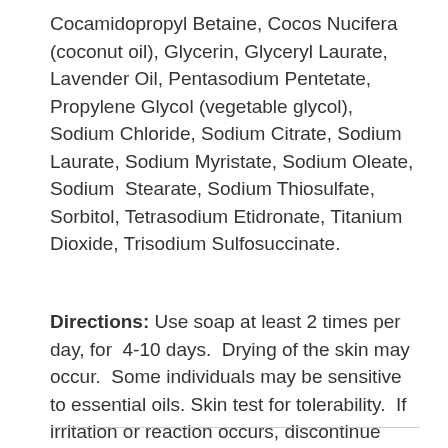Cocamidopropyl Betaine, Cocos Nucifera (coconut oil), Glycerin, Glyceryl Laurate, Lavender Oil, Pentasodium Pentetate, Propylene Glycol (vegetable glycol), Sodium Chloride, Sodium Citrate, Sodium Laurate, Sodium Myristate, Sodium Oleate, Sodium  Stearate, Sodium Thiosulfate, Sorbitol, Tetrasodium Etidronate, Titanium Dioxide, Trisodium Sulfosuccinate.
Directions: Use soap at least 2 times per day, for  4-10 days.  Drying of the skin may occur.  Some individuals may be sensitive to essential oils. Skin test for tolerability.  If irritation or reaction occurs, discontinue use.